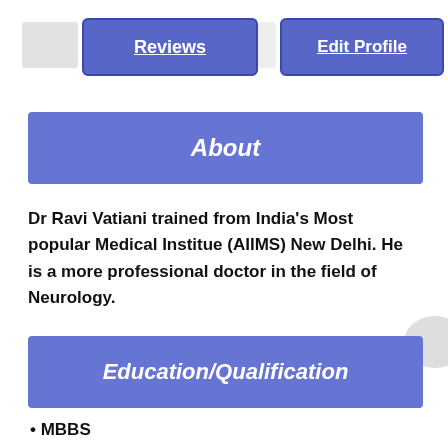[Figure (screenshot): Reviews button - blue rectangular button with white underlined bold text]
[Figure (screenshot): Edit Profile button - blue rectangular button with white underlined bold text]
About
Dr Ravi Vatiani trained from India's Most popular Medical Institue (AIIMS) New Delhi. He is a more professional doctor in the field of Neurology.
Education/Qualification
MBBS